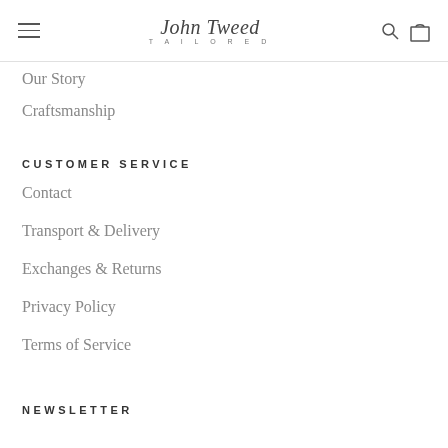John Tweed Tailored
Our Story
Craftsmanship
CUSTOMER SERVICE
Contact
Transport & Delivery
Exchanges & Returns
Privacy Policy
Terms of Service
NEWSLETTER